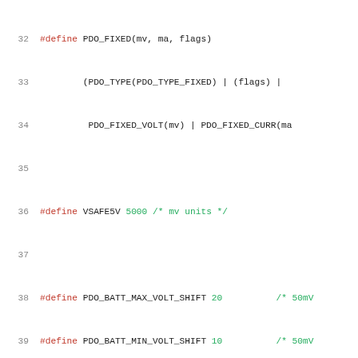[Figure (screenshot): Source code listing showing C preprocessor #define macros for PDO (Power Delivery Object) definitions, with line numbers 32-52. Macros include PDO_FIXED, VSAFE5V, PDO_BATT_*, and PDO_VAR_* definitions with numeric constants and comments.]